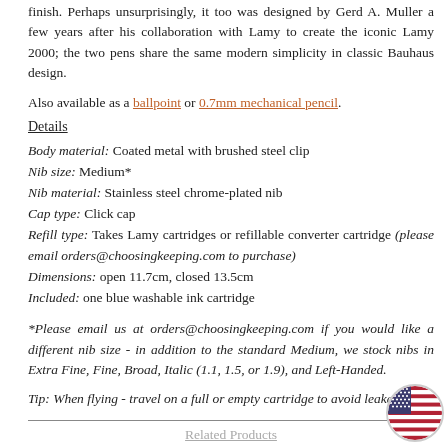finish. Perhaps unsurprisingly, it too was designed by Gerd A. Muller a few years after his collaboration with Lamy to create the iconic Lamy 2000; the two pens share the same modern simplicity in classic Bauhaus design.
Also available as a ballpoint or 0.7mm mechanical pencil.
Details
Body material: Coated metal with brushed steel clip
Nib size: Medium*
Nib material: Stainless steel chrome-plated nib
Cap type: Click cap
Refill type: Takes Lamy cartridges or refillable converter cartridge (please email orders@choosingkeeping.com to purchase)
Dimensions: open 11.7cm, closed 13.5cm
Included: one blue washable ink cartridge
*Please email us at orders@choosingkeeping.com if you would like a different nib size - in addition to the standard Medium, we stock nibs in Extra Fine, Fine, Broad, Italic (1.1, 1.5, or 1.9), and Left-Handed.
Tip: When flying - travel on a full or empty cartridge to avoid leakages.
Related Products